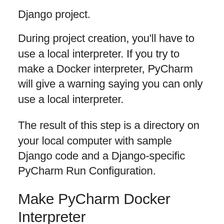Django project.
During project creation, you'll have to use a local interpreter. If you try to make a Docker interpreter, PyCharm will give a warning saying you can only use a local interpreter.
The result of this step is a directory on your local computer with sample Django code and a Django-specific PyCharm Run Configuration.
Make PyCharm Docker Interpreter
Create the docker container. More details to fine